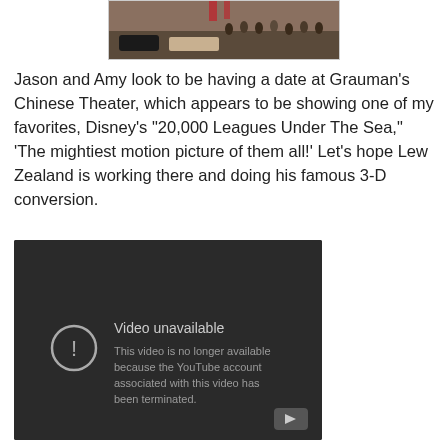[Figure (photo): Partial photo of a crowd outside Grauman's Chinese Theater, with cars visible and storefronts in the background.]
Jason and Amy look to be having a date at Grauman's Chinese Theater, which appears to be showing one of my favorites, Disney's "20,000 Leagues Under The Sea," 'The mightiest motion picture of them all!' Let's hope Lew Zealand is working there and doing his famous 3-D conversion.
[Figure (screenshot): YouTube video unavailable screen with dark background. Shows an exclamation mark icon, the text 'Video unavailable' and 'This video is no longer available because the YouTube account associated with this video has been terminated.' A YouTube play button icon appears in the bottom right corner.]